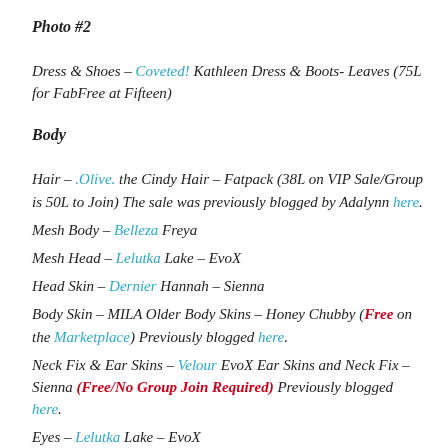Photo #2
Dress & Shoes – Coveted! Kathleen Dress & Boots- Leaves (75L for FabFree at Fifteen)
Body
Hair – .Olive. the Cindy Hair – Fatpack (38L on VIP Sale/Group is 50L to Join) The sale was previously blogged by Adalynn here.
Mesh Body – Belleza Freya
Mesh Head – Lelutka Lake – EvoX
Head Skin – Dernier Hannah – Sienna
Body Skin – MILA Older Body Skins – Honey Chubby (Free on the Marketplace) Previously blogged here.
Neck Fix & Ear Skins – Velour EvoX Ear Skins and Neck Fix – Sienna (Free/No Group Join Required) Previously blogged here.
Eyes – Lelutka Lake – EvoX